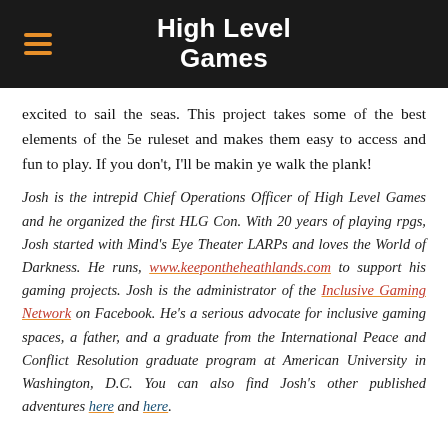High Level Games
excited to sail the seas. This project takes some of the best elements of the 5e ruleset and makes them easy to access and fun to play. If you don't, I'll be makin ye walk the plank!
Josh is the intrepid Chief Operations Officer of High Level Games and he organized the first HLG Con. With 20 years of playing rpgs, Josh started with Mind's Eye Theater LARPs and loves the World of Darkness. He runs, www.keepontheheathlands.com to support his gaming projects. Josh is the administrator of the Inclusive Gaming Network on Facebook. He's a serious advocate for inclusive gaming spaces, a father, and a graduate from the International Peace and Conflict Resolution graduate program at American University in Washington, D.C. You can also find Josh's other published adventures here and here.